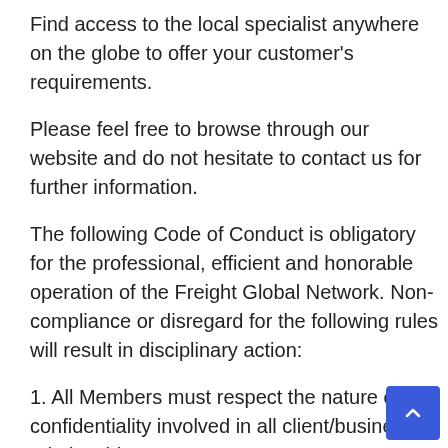Find access to the local specialist anywhere on the globe to offer your customer's requirements.
Please feel free to browse through our website and do not hesitate to contact us for further information.
The following Code of Conduct is obligatory for the professional, efficient and honorable operation of the Freight Global Network. Non-compliance or disregard for the following rules will result in disciplinary action:
1. All Members must respect the nature of confidentiality involved in all client/business relationships.